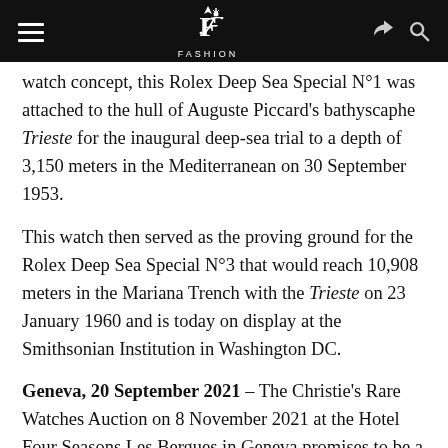FASHION (logo header with menu, share, search icons)
watch concept, this Rolex Deep Sea Special N°1 was attached to the hull of Auguste Piccard's bathyscaphe Trieste for the inaugural deep-sea trial to a depth of 3,150 meters in the Mediterranean on 30 September 1953.
This watch then served as the proving ground for the Rolex Deep Sea Special N°3 that would reach 10,908 meters in the Mariana Trench with the Trieste on 23 January 1960 and is today on display at the Smithsonian Institution in Washington DC.
Geneva, 20 September 2021 – The Christie's Rare Watches Auction on 8 November 2021 at the Hotel Four Seasons Les Bergues in Geneva promises to be a